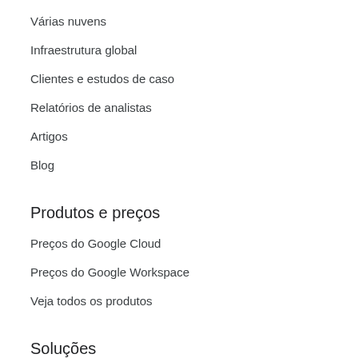Várias nuvens
Infraestrutura global
Clientes e estudos de caso
Relatórios de analistas
Artigos
Blog
Produtos e preços
Preços do Google Cloud
Preços do Google Workspace
Veja todos os produtos
Soluções
Modernização da infraestrutura